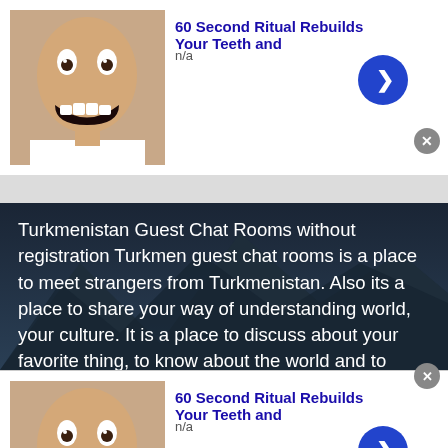[Figure (infographic): Ad banner with thumbnail image of man showing teeth, blue chevron button, and close button]
60 Second Ritual Rebuilds Your Teeth and
n/a
[Figure (photo): Mountain landscape with dark sky background behind text content block]
Turkmenistan Guest Chat Rooms without registration Turkmen guest chat rooms is a place to meet strangers from Turkmenistan. Also its a place to share your way of understanding world, your culture. It is a place to discuss about your favorite thing, to know about the world and to meet like minded people.
[Figure (infographic): Ad banner with thumbnail image of man showing teeth, blue chevron button, and close button]
60 Second Ritual Rebuilds Your Teeth and
n/a